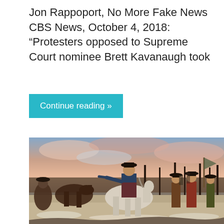Jon Rappoport, No More Fake News CBS News, October 4, 2018: “Protesters opposed to Supreme Court nominee Brett Kavanaugh took
Continue reading »
[Figure (illustration): Historical painting depicting Revolutionary War era soldiers on horseback and on foot, with a central figure on a white horse pointing forward, in a snowy landscape with a dramatic pink and blue sky.]